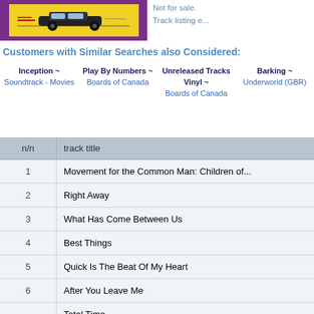[Figure (illustration): Album cover thumbnail with purple border and yellow background showing a black car silhouette]
Not for sale.
Track listing e...
Customers with Similar Searches also Considered:
Inception ~ Soundtrack - Movies
Play By Numbers ~ Boards of Canada
Unreleased Tracks Vinyl ~ Boards of Canada
Barking ~ Underworld (GBR)
| n/n | track title |
| --- | --- |
| 1 | Movement for the Common Man: Children of... |
| 2 | Right Away |
| 3 | What Has Come Between Us |
| 4 | Best Things |
| 5 | Quick Is The Beat Of My Heart |
| 6 | After You Leave Me |
|  | Total Time |